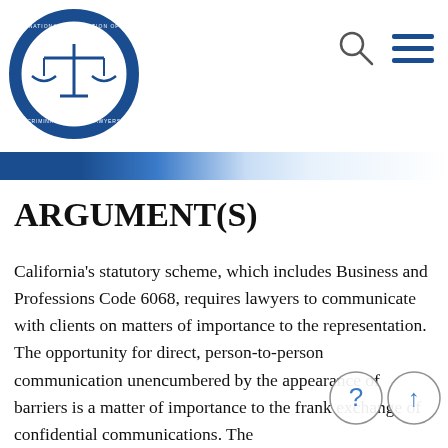National Association of Criminal Defense Lawyers
ARGUMENT(S)
California's statutory scheme, which includes Business and Professions Code 6068, requires lawyers to communicate with clients on matters of importance to the representation. The opportunity for direct, person-to-person communication unencumbered by the appearance of barriers is a matter of importance to the frank exchange of confidential communications. The